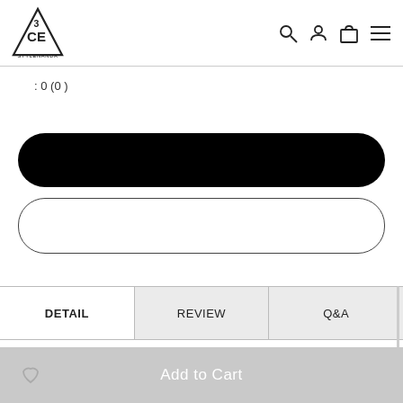[Figure (logo): 3CE STYLENANDA triangular logo with navigation icons (search, user, bag, menu)]
: 0 (0 )
[Figure (other): Black rounded rectangle button]
[Figure (other): White outlined rounded rectangle button]
DETAIL | REVIEW | Q&A
DETAIL IMAGES
Add to Cart